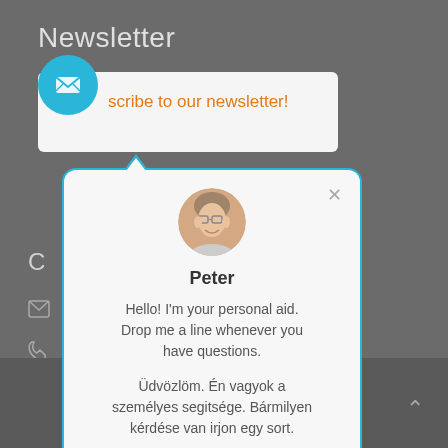Newsletter
Subscribe to our newsletter!
C
[Figure (screenshot): Chat popup with avatar photo of Peter, with English and Hungarian greeting text. Close button (x) in top right. Blue border with speech bubble pointer.]
Peter
Hello! I'm your personal aid. Drop me a line whenever you have questions.

Üdvözlöm. Én vagyok a személyes segitsége. Bármilyen kérdése van irjon egy sort.
© 2016 PWENT Ltd.